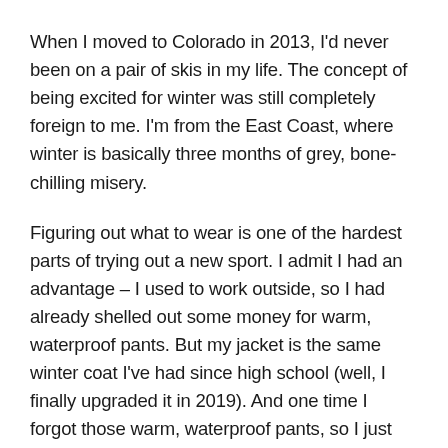When I moved to Colorado in 2013, I'd never been on a pair of skis in my life. The concept of being excited for winter was still completely foreign to me. I'm from the East Coast, where winter is basically three months of grey, bone-chilling misery.
Figuring out what to wear is one of the hardest parts of trying out a new sport. I admit I had an advantage – I used to work outside, so I had already shelled out some money for warm, waterproof pants. But my jacket is the same winter coat I've had since high school (well, I finally upgraded it in 2019). And one time I forgot those warm, waterproof pants, so I just skied in Billy's sweatpants and everything turned out fine (fortunately I didn't have any epic wipe outs that got me covered in snow).